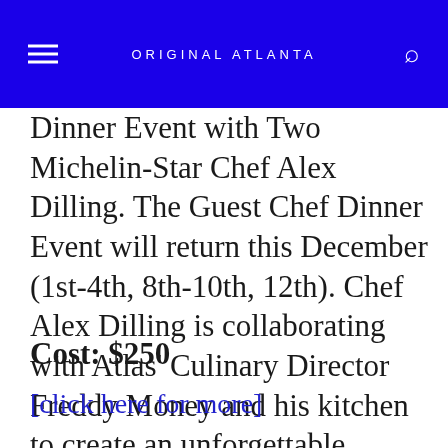ORIGINAL ATLANTA
Dinner Event with Two Michelin-Star Chef Alex Dilling. The Guest Chef Dinner Event will return this December (1st-4th, 8th-10th, 12th). Chef Alex Dilling is collaborating with Atlas' Culinary Director Freddy Money and his kitchen to create an unforgettable culinar...
Cost: $250
[click here for more]